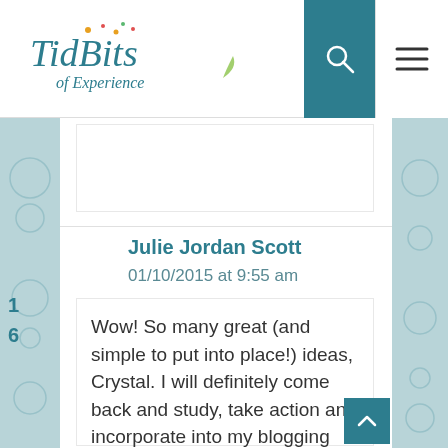TidBits of Experience
1
6
Julie Jordan Scott
01/10/2015 at 9:55 am
Wow! So many great (and simple to put into place!) ideas, Crystal. I will definitely come back and study, take action and incorporate into my blogging